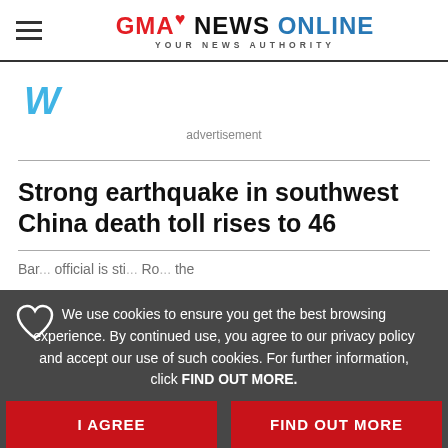GMA NEWS ONLINE — YOUR NEWS AUTHORITY
[Figure (logo): Weatherbug 'W' icon in teal/cyan color]
advertisement
Strong earthquake in southwest China death toll rises to 46
We use cookies to ensure you get the best browsing experience. By continued use, you agree to our privacy policy and accept our use of such cookies. For further information, click FIND OUT MORE.
I AGREE
FIND OUT MORE